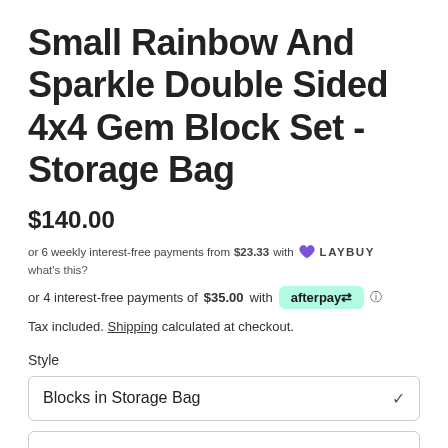Small Rainbow And Sparkle Double Sided 4x4 Gem Block Set - Storage Bag
$140.00
or 6 weekly interest-free payments from $23.33 with LAYBUY what's this?
or 4 interest-free payments of $35.00 with afterpay
Tax included. Shipping calculated at checkout.
Style
Blocks in Storage Bag